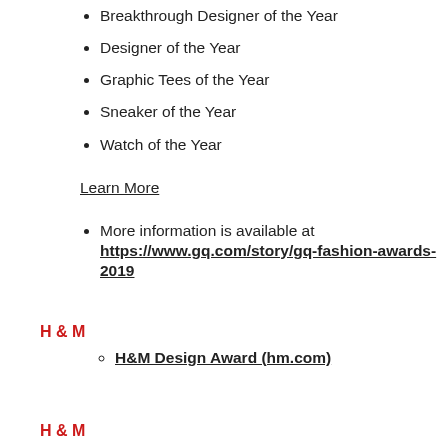Breakthrough Designer of the Year
Designer of the Year
Graphic Tees of the Year
Sneaker of the Year
Watch of the Year
Learn More
More information is available at https://www.gq.com/story/gq-fashion-awards-2019
H & M
H&M Design Award (hm.com)
H & M